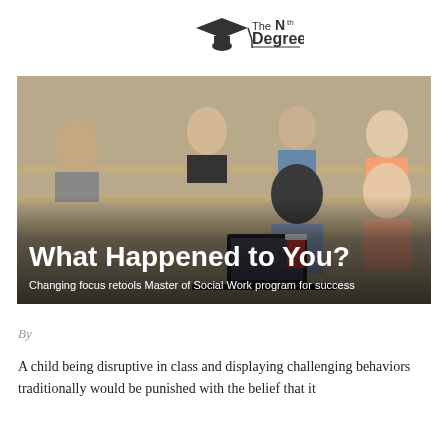The Nth Degree
[Figure (photo): Classroom scene showing students seated at desks in a lecture-style room, with overlaid text 'What Happened to You?' and subtitle 'Changing focus retools Master of Social Work program for success']
By
A child being disruptive in class and displaying challenging behaviors traditionally would be punished with the belief that it